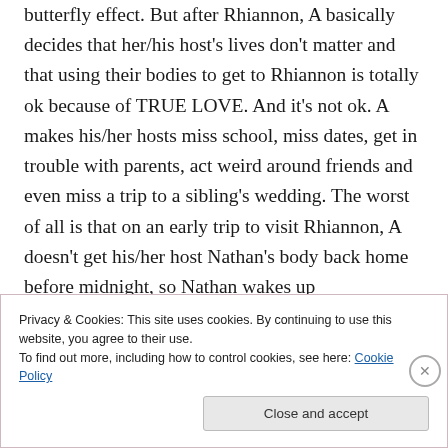butterfly effect. But after Rhiannon, A basically decides that her/his host's lives don't matter and that using their bodies to get to Rhiannon is totally ok because of TRUE LOVE. And it's not ok. A makes his/her hosts miss school, miss dates, get in trouble with parents, act weird around friends and even miss a trip to a sibling's wedding. The worst of all is that on an early trip to visit Rhiannon, A doesn't get his/her host Nathan's body back home before midnight, so Nathan wakes up
Privacy & Cookies: This site uses cookies. By continuing to use this website, you agree to their use.
To find out more, including how to control cookies, see here: Cookie Policy